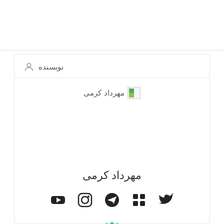نویسنده
مهرداد کرمی
مهرداد کرمی
[Figure (other): Social media icons: YouTube, Instagram, Telegram, Grid/App, Twitter]
[Figure (illustration): Green badge/seal icon with pencil and document design]